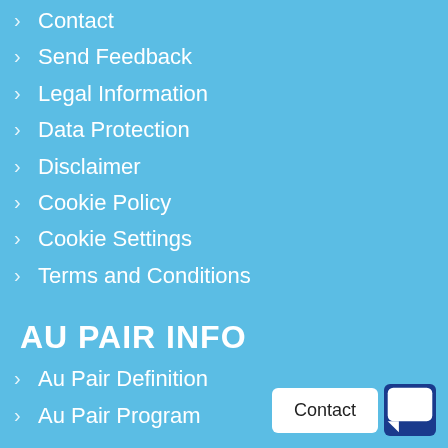Contact
Send Feedback
Legal Information
Data Protection
Disclaimer
Cookie Policy
Cookie Settings
Terms and Conditions
AU PAIR INFO
Au Pair Definition
Au Pair Program